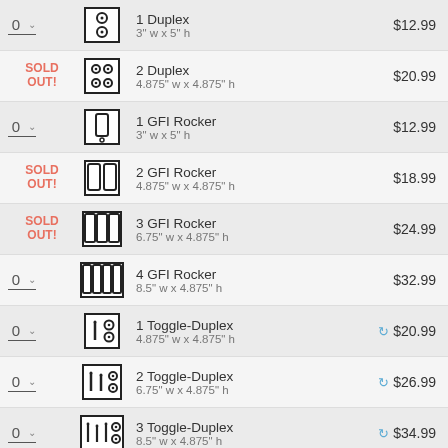1 Duplex 3" w x 5" h $12.99
2 Duplex 4.875" w x 4.875" h $20.99 SOLD OUT
1 GFI Rocker 3" w x 5" h $12.99
2 GFI Rocker 4.875" w x 4.875" h $18.99 SOLD OUT
3 GFI Rocker 6.75" w x 4.875" h $24.99 SOLD OUT
4 GFI Rocker 8.5" w x 4.875" h $32.99
1 Toggle-Duplex 4.875" w x 4.875" h $20.99
2 Toggle-Duplex 6.75" w x 4.875" h $26.99
3 Toggle-Duplex 8.5" w x 4.875" h $34.99
1 Toggle-GFI Rocker $32.99